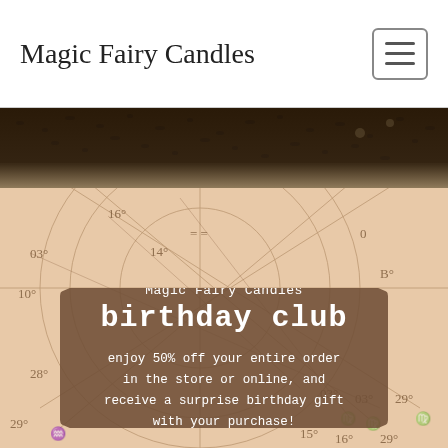Magic Fairy Candles
[Figure (photo): Top strip showing dark seeds or granular material on a white/beige surface]
[Figure (infographic): Astrological birth chart background (peach/tan paper with zodiac symbols and geometric lines) with a brown rounded-rectangle overlay box containing: 'Magic Fairy Candles', 'birthday club', 'enjoy 50% off your entire order in the store or online, and receive a surprise birthday gift with your purchase!']